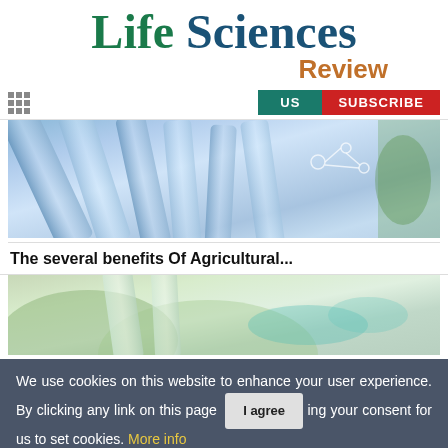Life Sciences Review
[Figure (screenshot): Navigation bar with hamburger menu icon, US tab in teal, and SUBSCRIBE button in red]
[Figure (photo): Close-up of laboratory glass test tubes with blue/purple tones and molecular diagram overlay]
The several benefits Of Agricultural...
[Figure (photo): Close-up of laboratory glassware with green and teal tones]
We use cookies on this website to enhance your user experience. By clicking any link on this page you are giving your consent for us to set cookies. More info